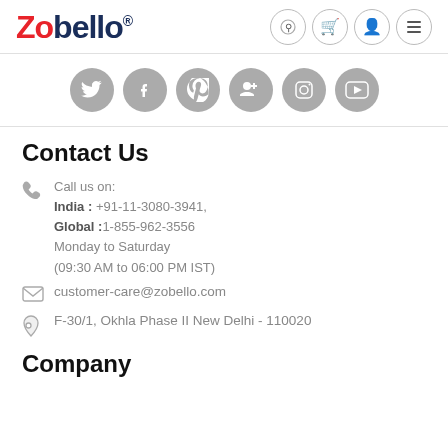Zobello® [search, cart, account, menu icons]
[Figure (illustration): Row of 6 gray circular social media icons: Twitter, Facebook, Pinterest, Google+, Instagram, YouTube]
Contact Us
Call us on:
India : +91-11-3080-3941,
Global :1-855-962-3556
Monday to Saturday
(09:30 AM to 06:00 PM IST)
customer-care@zobello.com
F-30/1, Okhla Phase II New Delhi - 110020
Company